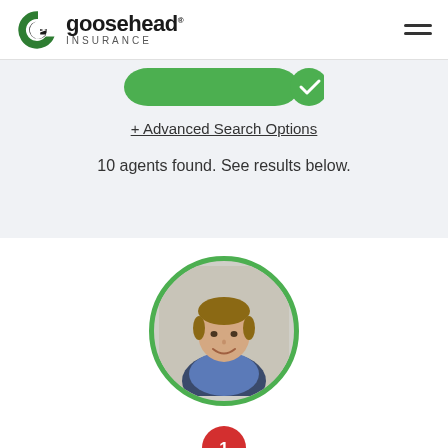[Figure (logo): Goosehead Insurance logo with circular G icon and text 'goosehead INSURANCE']
[Figure (other): Hamburger menu icon (three horizontal lines) in top right corner]
[Figure (other): Partial green search/submit button visible at top of search section]
+ Advanced Search Options
10 agents found. See results below.
[Figure (photo): Circular profile photo of a smiling man in a dark blazer with a green circular border]
[Figure (other): Red map pin marker with the number 1 inside it]